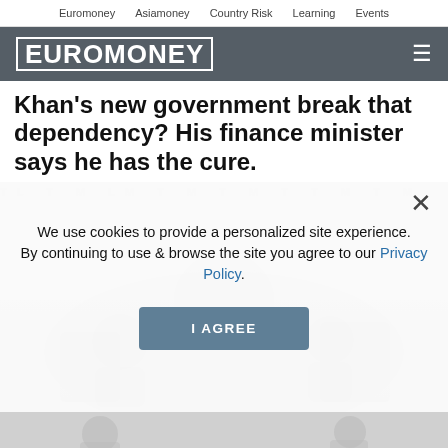Euromoney   Asiamoney   Country Risk   Learning   Events
[Figure (logo): Euromoney logo in white block letters on dark grey background with hamburger menu icon]
Khan's new government break that dependency? His finance minister says he has the cure.
[Figure (screenshot): Cookie consent modal overlay on top of a partially visible illustration/photo. The modal reads: We use cookies to provide a personalized site experience. By continuing to use & browse the site you agree to our Privacy Policy. with an I AGREE button. A close (X) button appears in the top right of the modal.]